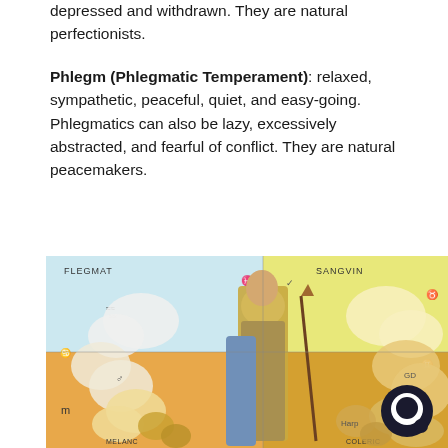depressed and withdrawn. They are natural perfectionists.
Phlegm (Phlegmatic Temperament): relaxed, sympathetic, peaceful, quiet, and easy-going. Phlegmatics can also be lazy, excessively abstracted, and fearful of conflict. They are natural peacemakers.
[Figure (illustration): Historical woodcut or engraving divided into four quadrants showing the four temperaments. Labels visible: FLEGMAT (top left), SANGVIN (top right), with astrological symbols and figures. Bottom labels partially visible: MELANC (bottom left), COLERIC (bottom right). Central figure of a man with a beard and staff surrounded by cloud-like forms in each quadrant.]
[Figure (logo): Dark circular chat bubble icon in bottom right corner.]